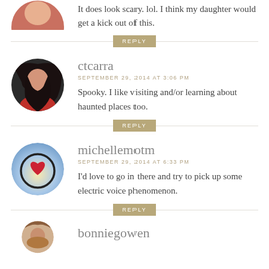It does look scary. lol. I think my daughter would get a kick out of this.
REPLY
[Figure (photo): Circular avatar of ctcarra - woman with dark hair in red top]
ctcarra
SEPTEMBER 29, 2014 AT 3:06 PM
Spooky. I like visiting and/or learning about haunted places too.
REPLY
[Figure (photo): Circular avatar of michellemotm - sky background with heart symbol]
michellemotm
SEPTEMBER 29, 2014 AT 6:33 PM
I'd love to go in there and try to pick up some electric voice phenomenon.
REPLY
[Figure (photo): Circular avatar of bonniegowen - partial view at bottom]
bonniegowen